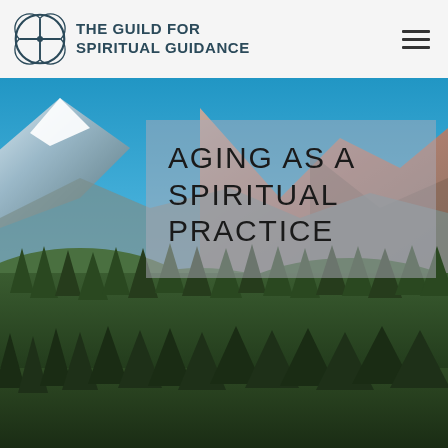THE GUILD FOR SPIRITUAL GUIDANCE
[Figure (photo): Mountain landscape with snow-capped peaks, rocky cliffs, pine forest in foreground, blue sky background]
AGING AS A SPIRITUAL PRACTICE